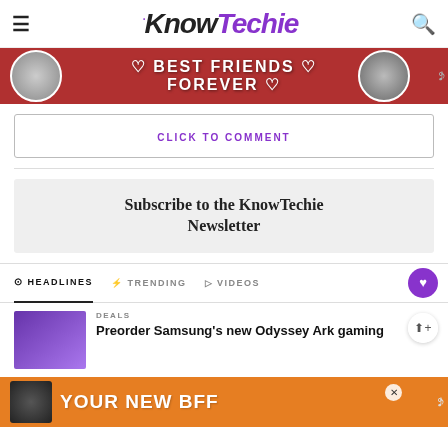KnowTechie
[Figure (photo): Advertisement banner showing two cats with text BEST FRIENDS FOREVER]
CLICK TO COMMENT
Subscribe to the KnowTechie Newsletter
HEADLINES   TRENDING   VIDEOS
DEALS
Preorder Samsung's new Odyssey Ark gaming
[Figure (photo): Advertisement banner showing a dog with text YOUR NEW BFF on orange background]